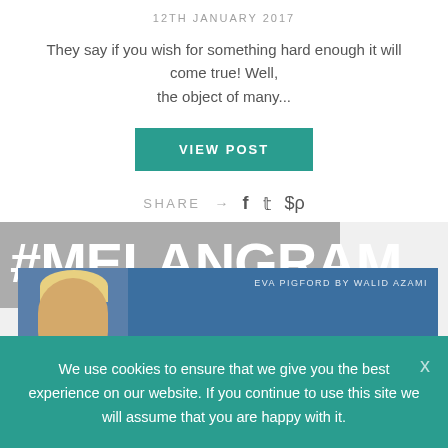12TH JANUARY 2017
They say if you wish for something hard enough it will come true! Well, the object of many...
VIEW POST
SHARE → f 🐦 ⊕
[Figure (screenshot): #MELANGRAM banner with grey background overlay on website section]
[Figure (photo): Instagram card showing Eva Pigford by Walid Azami on blue background]
We use cookies to ensure that we give you the best experience on our website. If you continue to use this site we will assume that you are happy with it.